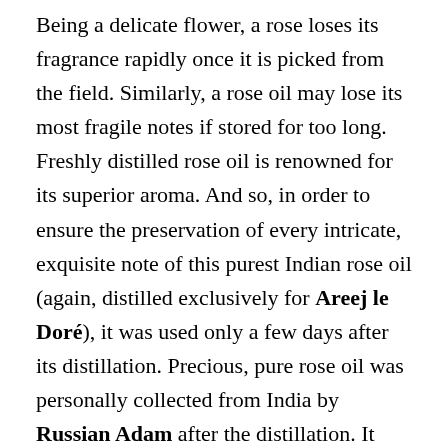Being a delicate flower, a rose loses its fragrance rapidly once it is picked from the field. Similarly, a rose oil may lose its most fragile notes if stored for too long. Freshly distilled rose oil is renowned for its superior aroma. And so, in order to ensure the preservation of every intricate, exquisite note of this purest Indian rose oil (again, distilled exclusively for Areej le Doré), it was used only a few days after its distillation. Precious, pure rose oil was personally collected from India by Russian Adam after the distillation. It was then cured by him in traditional camel leather bottles, according to an ancient tradition, in order to remove the remaining moisture. An incredible amount (nearly two kilograms) of this fresh, pure precious oil was used for Malik Al Taif. Current fragrance regulations in certain countries do not allow the use of rose oil in quantities over 4% in any given blend. In this perfume, however, where the aim was a rose-centered composition, Russian Adam used around 40% of